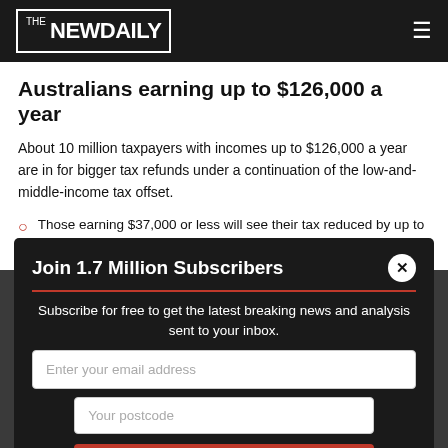THE NEW DAILY
Australians earning up to $126,000 a year
About 10 million taxpayers with incomes up to $126,000 a year are in for bigger tax refunds under a continuation of the low-and-middle-income tax offset.
Those earning $37,000 or less will see their tax reduced by up to $255
Those earning between $37,000 and $48,000 will receive an extra 7.5 cents for every dollar of income above $37,000 up to a maximum of $1,080
Those on incomes between $48,000 and $126,000 will get the maximum offset of $1,080
Those on incomes between $90,000 and $126,000 will
[Figure (screenshot): Newsletter subscription modal popup with title 'Join 1.7 Million Subscribers', subtitle text, email input field, postcode field, and Subscribe button.]